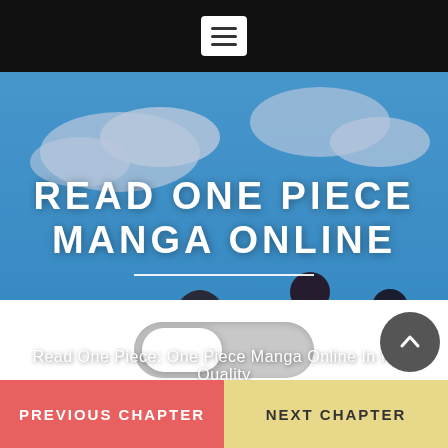[Figure (screenshot): Black top navigation bar with white hamburger menu icon (three horizontal lines) centered in the bar.]
[Figure (illustration): Hero banner with anime-style illustration of One Piece characters (young Luffy, Ace, and Sabo) running on a blue ocean background with clouds and splash effects. Overlaid with semi-transparent blue tint.]
READ ONE PIECE MANGA ONLINE
Read One Piece: One Piece Manga Online In High Quality
[Figure (other): White toggle switch on a gray track, positioned left side, indicating an off/light mode toggle.]
PREVIOUS CHAPTER
NEXT CHAPTER